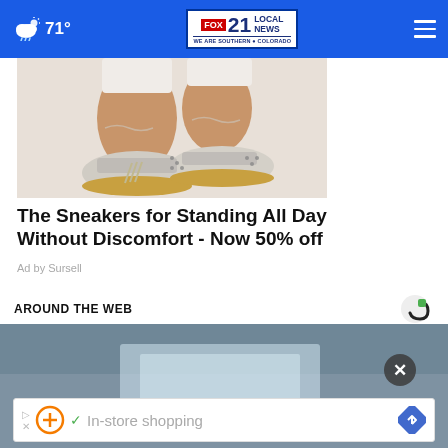71° FOX 21 LOCAL NEWS WE ARE SOUTHERN COLORADO
[Figure (photo): Close-up photo of decorative silver and gold sneakers/shoes on someone's feet, white background]
The Sneakers for Standing All Day Without Discomfort - Now 50% off
Ad by Sursell
AROUND THE WEB
[Figure (photo): Blurred/out-of-focus image, appears to be papers or documents on a surface]
In-store shopping